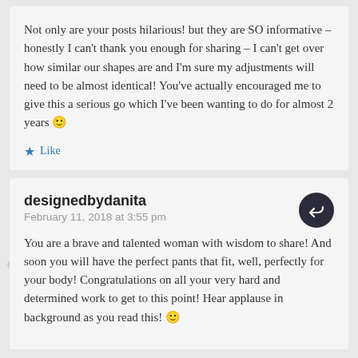Not only are your posts hilarious! but they are SO informative – honestly I can't thank you enough for sharing – I can't get over how similar our shapes are and I'm sure my adjustments will need to be almost identical! You've actually encouraged me to give this a serious go which I've been wanting to do for almost 2 years 🙂
★ Like
designedbydanita
February 11, 2018 at 3:55 pm
You are a brave and talented woman with wisdom to share! And soon you will have the perfect pants that fit, well, perfectly for your body! Congratulations on all your very hard and determined work to get to this point! Hear applause in background as you read this! 🙂